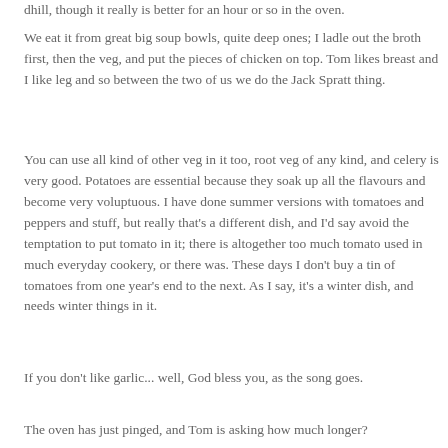dhill, though it really is better for an hour or so in the oven.
We eat it from great big soup bowls, quite deep ones; I ladle out the broth first, then the veg, and put the pieces of chicken on top. Tom likes breast and I like leg and so between the two of us we do the Jack Spratt thing.
You can use all kind of other veg in it too, root veg of any kind, and celery is very good. Potatoes are essential because they soak up all the flavours and become very voluptuous. I have done summer versions with tomatoes and peppers and stuff, but really that's a different dish, and I'd say avoid the temptation to put tomato in it; there is altogether too much tomato used in much everyday cookery, or there was. These days I don't buy a tin of tomatoes from one year's end to the next. As I say, it's a winter dish, and needs winter things in it.
If you don't like garlic... well, God bless you, as the song goes.
The oven has just pinged, and Tom is asking how much longer?